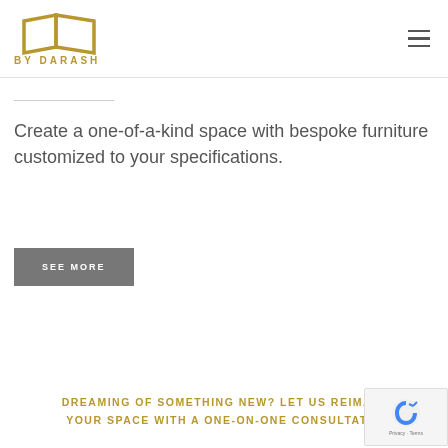[Figure (logo): By Darash logo with geometric trapezoid/box icon in gold/tan color and text BY DARASH below]
Create a one-of-a-kind space with bespoke furniture customized to your specifications.
SEE MORE
DREAMING OF SOMETHING NEW? LET US REIMAGI... YOUR SPACE WITH A ONE-ON-ONE CONSULTATIO...